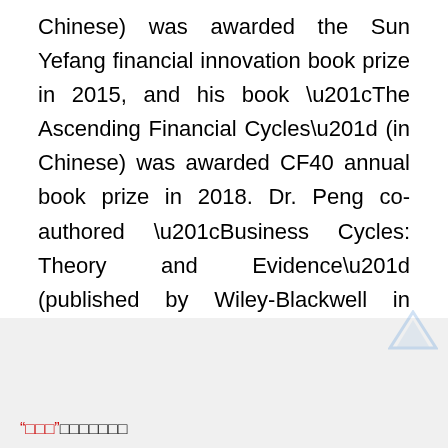Chinese) was awarded the Sun Yefang financial innovation book prize in 2015, and his book “The Ascending Financial Cycles” (in Chinese) was awarded CF40 annual book prize in 2018. Dr. Peng co-authored “Business Cycles: Theory and Evidence” (published by Wiley-Blackwell in 1993) and co-edited “Currency Internationalization: Global Experience and Implications for the Renminbi” (published by Palgrave Macmillan in 2009).■
����
“���”�������